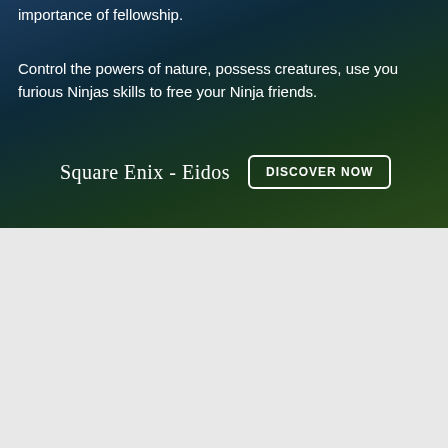importance of fellowship.
Control the powers of nature, possess creatures, use you furious Ninjas skills to free your Ninja friends.
Square Enix - Eidos  DISCOVER NOW
Square Enix
Mini Ninjas
$9.95
Availability: CURRENTLY NOT AVAILABLE
Sold out